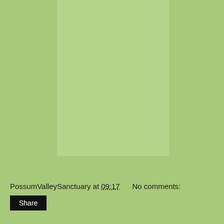[Figure (photo): A green/light-green rectangular image placeholder occupying the upper central portion of the page against a green background.]
PossumValleySanctuary at 09:17     No comments:
Share